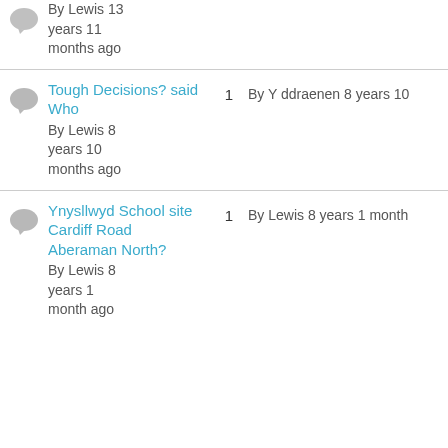By Lewis 13 years 11 months ago
Tough Decisions? said Who - By Lewis 8 years 10 months ago | 1 reply | By Y ddraenen 8 years 10...
Ynysllwyd School site Cardiff Road Aberaman North? - By Lewis 8 years 1 month ago | 1 reply | By Lewis 8 years 1 month